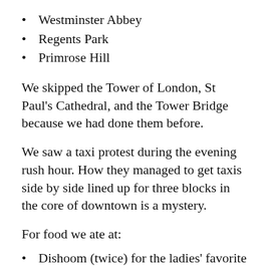Westminster Abbey
Regents Park
Primrose Hill
We skipped the Tower of London, St Paul’s Cathedral, and the Tower Bridge because we had done them before.
We saw a taxi protest during the evening rush hour. How they managed to get taxis side by side lined up for three blocks in the core of downtown is a mystery.
For food we ate at:
Dishoom (twice) for the ladies’ favorite breakfast with bottomless chai. The vegan granola is to die for.
Pizza Sophia, a cozy pizza place near our hotel